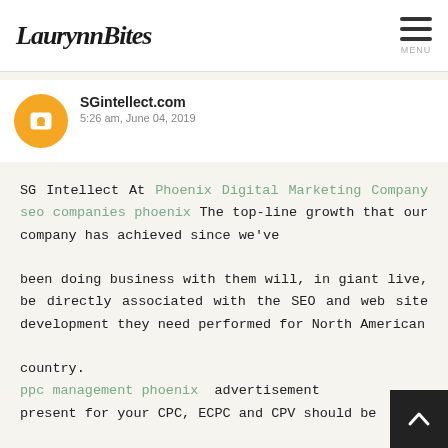LaurynnBites
SGintellect.com
5:26 am, June 04, 2019
SG Intellect At Phoenix Digital Marketing Company seo companies phoenix The top-line growth that our company has achieved since we've

been doing business with them will, in giant live, be directly associated with the SEO and web site development they need performed for North American

country.
ppc management phoenix advertisement present for your CPC, ECPC and CPV should be